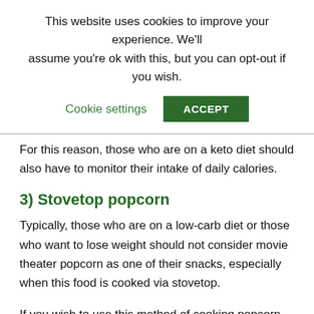This website uses cookies to improve your experience. We'll assume you're ok with this, but you can opt-out if you wish.
Cookie settings   ACCEPT
For this reason, those who are on a keto diet should also have to monitor their intake of daily calories.
3) Stovetop popcorn
Typically, those who are on a low-carb diet or those who want to lose weight should not consider movie theater popcorn as one of their snacks, especially when this food is cooked via stovetop.
If you wish to use this method of cooking popcorn, you